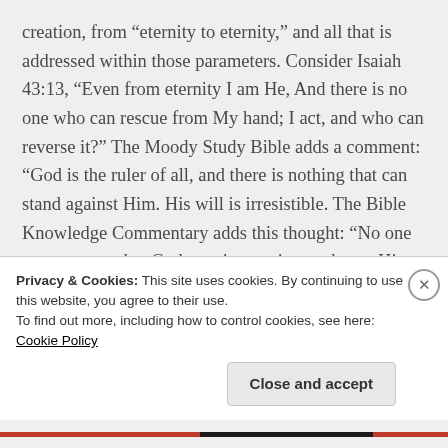creation, from “eternity to eternity,” and all that is addressed within those parameters. Consider Isaiah 43:13, “Even from eternity I am He, And there is no one who can rescue from My hand; I act, and who can reverse it?” The Moody Study Bible adds a comment: “God is the ruler of all, and there is nothing that can stand against Him. His will is irresistible. The Bible Knowledge Commentary adds this thought: “No one can reverse what God puts into action or thwart His plans.” The articles that are found in this site may
Privacy & Cookies: This site uses cookies. By continuing to use this website, you agree to their use.
To find out more, including how to control cookies, see here: Cookie Policy
Close and accept